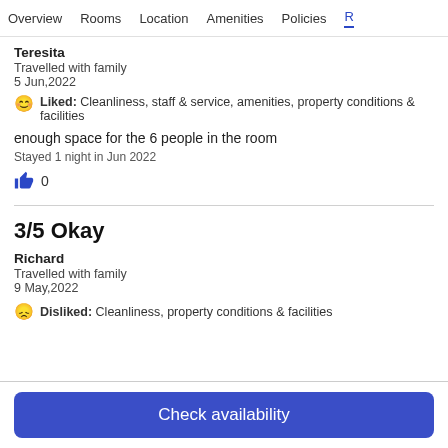Overview  Rooms  Location  Amenities  Policies  R
Teresita
Travelled with family
5 Jun,2022
Liked: Cleanliness, staff & service, amenities, property conditions & facilities
enough space for the 6 people in the room
Stayed 1 night in Jun 2022
👍 0
3/5 Okay
Richard
Travelled with family
9 May,2022
Disliked: Cleanliness, property conditions & facilities
Check availability